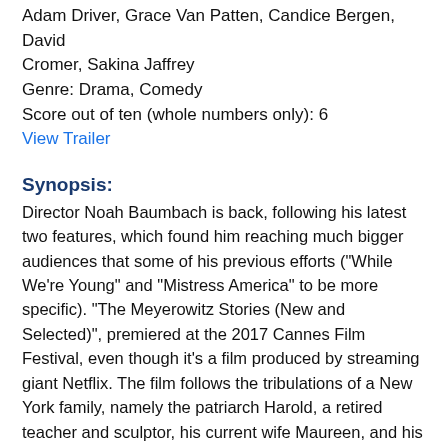Adam Driver, Grace Van Patten, Candice Bergen, David Cromer, Sakina Jaffrey
Genre: Drama, Comedy
Score out of ten (whole numbers only): 6
View Trailer
Synopsis:
Director Noah Baumbach is back, following his latest two features, which found him reaching much bigger audiences that some of his previous efforts ("While We're Young" and "Mistress America" to be more specific). "The Meyerowitz Stories (New and Selected)", premiered at the 2017 Cannes Film Festival, even though it's a film produced by streaming giant Netflix. The film follows the tribulations of a New York family, namely the patriarch Harold, a retired teacher and sculptor, his current wife Maureen, and his offspring, Danny, Matthew and Jean. Danny who is going through a separation, comes to New York with his daughter who's about to go to college to study film. Danny is having to stay with his father, while his divorce gets settled. Harold in the meantime, is trying to get a retrospective on his work, while simultaneously considering moving out of the city, since the cost of living in New York has pushed them out. All those